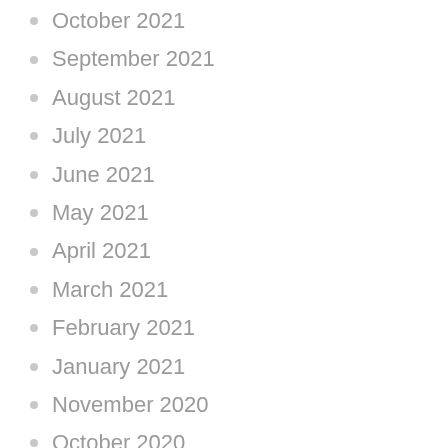October 2021
September 2021
August 2021
July 2021
June 2021
May 2021
April 2021
March 2021
February 2021
January 2021
November 2020
October 2020